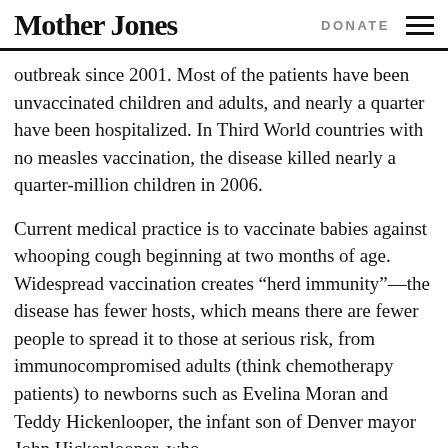Mother Jones | DONATE
outbreak since 2001. Most of the patients have been unvaccinated children and adults, and nearly a quarter have been hospitalized. In Third World countries with no measles vaccination, the disease killed nearly a quarter-million children in 2006.
Current medical practice is to vaccinate babies against whooping cough beginning at two months of age. Widespread vaccination creates “herd immunity”—the disease has fewer hosts, which means there are fewer people to spread it to those at serious risk, from immunocompromised adults (think chemotherapy patients) to newborns such as Evelina Moran and Teddy Hickenlooper, the infant son of Denver mayor John Hickenlooper, who